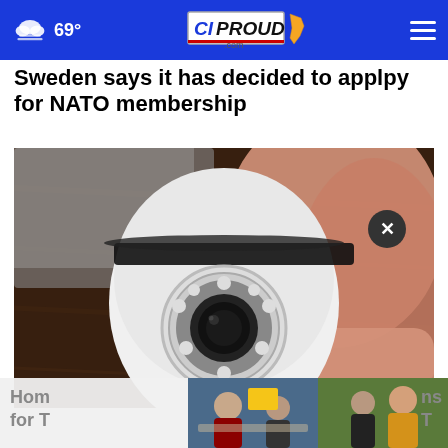69° | CIPROUD.com | Navigation menu
Sweden says it has decided to applpy for NATO membership
[Figure (photo): Close-up photo of a white smart home security camera being held by a hand, with a round lens and LED ring, against a dark wooden background.]
Hom...ns for T...